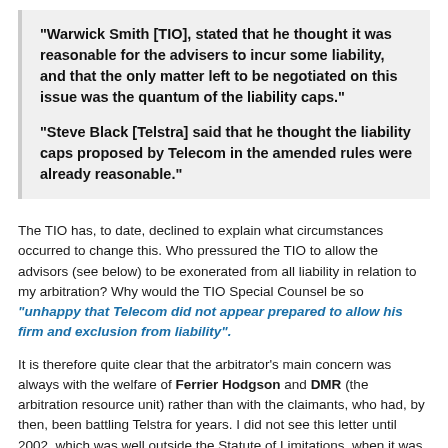“Warwick Smith [TIO], stated that he thought it was reasonable for the advisers to incur some liability, and that the only matter left to be negotiated on this issue was the quantum of the liability caps.”
“Steve Black [Telstra] said that he thought the liability caps proposed by Telecom in the amended rules were already reasonable.”
The TIO has, to date, declined to explain what circumstances occurred to change this. Who pressured the TIO to allow the advisors (see below) to be exonerated from all liability in relation to my arbitration? Why would the TIO Special Counsel be so “unhappy that Telecom did not appear prepared to allow his firm and exclusion from liability”.
It is therefore quite clear that the arbitrator’s main concern was always with the welfare of Ferrier Hodgson and DMR (the arbitration resource unit) rather than with the claimants, who had, by then, been battling Telstra for years. I did not see this letter until 2002, which was well outside the Statute of Limitations, when it was finally sent to me, along